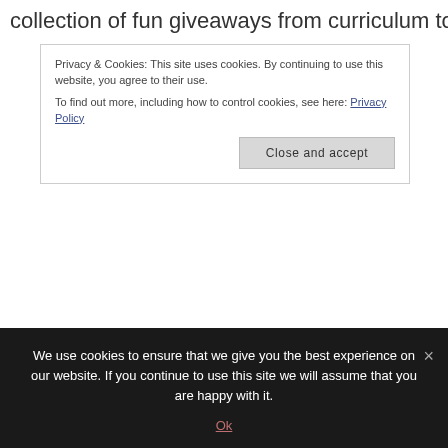collection of fun giveaways from curriculum to
Privacy & Cookies: This site uses cookies. By continuing to use this website, you agree to their use.
To find out more, including how to control cookies, see here: Privacy Policy
WinterPromise
Homeschool Legacy, Once-A-Week Unit Studies
Hedua – Well Planned Day Planners
Motivated Moms
Happy Family
We use cookies to ensure that we give you the best experience on our website. If you continue to use this site we will assume that you are happy with it.
Ok